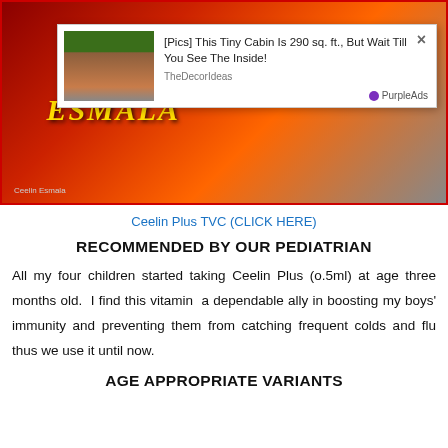[Figure (screenshot): Screenshot of a webpage showing a video embed with red border (ESMALA text visible), overlaid by a popup ad showing a tiny cabin with text '[Pics] This Tiny Cabin Is 290 sq. ft., But Wait Till You See The Inside!' from TheDecorIdeas, with PurpleAds branding and a close button (×).]
Ceelin Plus TVC (CLICK HERE)
RECOMMENDED BY OUR PEDIATRIAN
All my four children started taking Ceelin Plus (o.5ml) at age three months old. I find this vitamin a dependable ally in boosting my boys' immunity and preventing them from catching frequent colds and flu thus we use it until now.
AGE APPROPRIATE VARIANTS